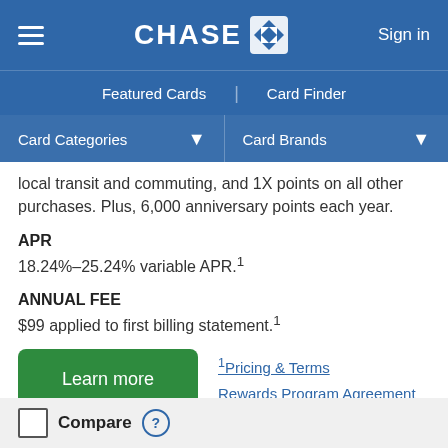CHASE | Featured Cards | Card Finder | Sign in
local transit and commuting, and 1X points on all other purchases. Plus, 6,000 anniversary points each year.
APR
18.24%–25.24% variable APR.¹
ANNUAL FEE
$99 applied to first billing statement.¹
Learn more | ¹Pricing & Terms | Rewards Program Agreement
Compare